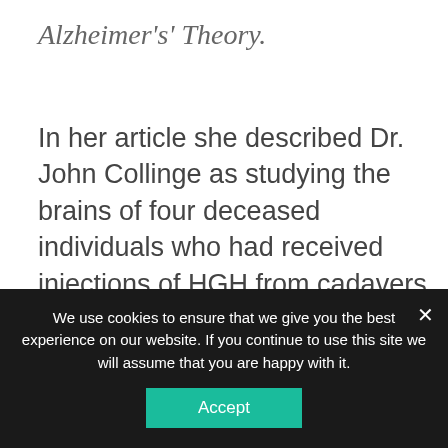Alzheimer's' Theory.
In her article she described Dr. John Collinge as studying the brains of four deceased individuals who had received injections of HGH from cadavers that had been infected with the virus that causes Creutzfeldt–Jakob Disease, which is a deadly neurological disease somewhat related to “Mad Cow” (about 1 in a million people die of CJD in the
We use cookies to ensure that we give you the best experience on our website. If you continue to use this site we will assume that you are happy with it.
Accept